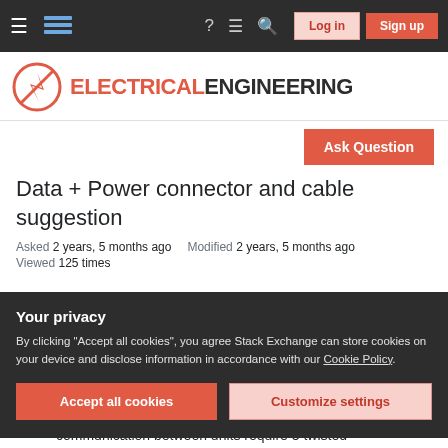Electrical Engineering Stack Exchange — Navigation bar with Log in and Sign up buttons
[Figure (logo): Electrical Engineering Stack Exchange site logo with a lightning bolt in a circle, text ELECTRICAL ENGINEERING]
Ask Question
Data + Power connector and cable suggestion
Asked 2 years, 5 months ago   Modified 2 years, 5 months ago
Viewed 125 times
Your privacy
By clicking "Accept all cookies", you agree Stack Exchange can store cookies on your device and disclose information in accordance with our Cookie Policy.
Accept all cookies   Customize settings
communication between units require 3 twisted